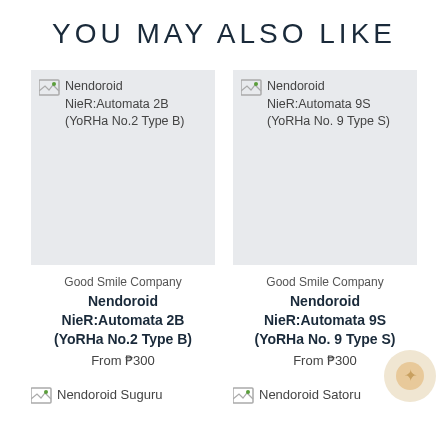YOU MAY ALSO LIKE
[Figure (other): Product image placeholder for Nendoroid NieR:Automata 2B (YoRHa No.2 Type B) - broken image icon with alt text]
[Figure (other): Product image placeholder for Nendoroid NieR:Automata 9S (YoRHa No. 9 Type S) - broken image icon with alt text]
Good Smile Company
Nendoroid NieR:Automata 2B (YoRHa No.2 Type B)
From ₱300
Good Smile Company
Nendoroid NieR:Automata 9S (YoRHa No. 9 Type S)
From ₱300
[Figure (other): Product image placeholder for Nendoroid Suguru - broken image icon with alt text]
[Figure (other): Product image placeholder for Nendoroid Satoru - broken image icon with alt text]